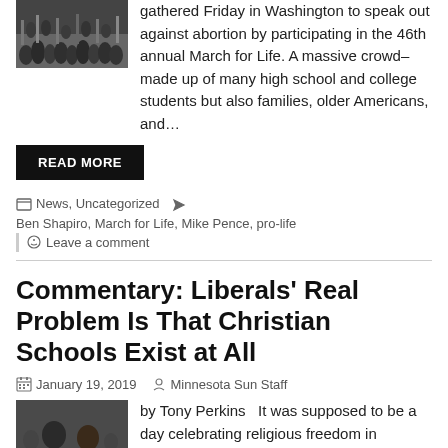[Figure (photo): Crowd of people gathered at a rally or march, outdoors]
gathered Friday in Washington to speak out against abortion by participating in the 46th annual March for Life. A massive crowd–made up of many high school and college students but also families, older Americans, and…
READ MORE
News, Uncategorized   Ben Shapiro, March for Life, Mike Pence, pro-life
Leave a comment
Commentary: Liberals' Real Problem Is That Christian Schools Exist at All
January 19, 2019   Minnesota Sun Staff
[Figure (photo): Two people, appears to be a man in suit and woman at an event]
by Tony Perkins   It was supposed to be a day celebrating religious freedom in America. Instead, liberals decided to show everyone just how much our First Freedom is at risk. For Christians, who have tried to warn people that these past several years were about a